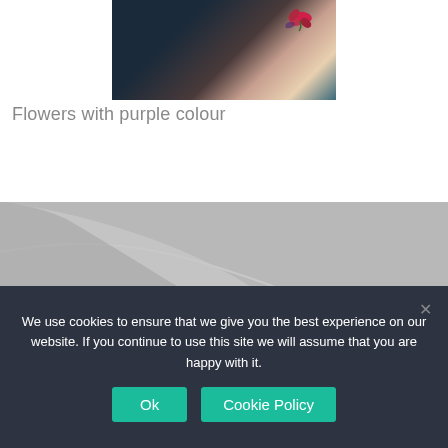[Figure (photo): Close-up photo of a flower tattoo with purple/red colors on skin, cropped at top]
Flowers with purple colour
[Figure (photo): Black and white photo of an arrow/script tattoo on a shoulder/collarbone area]
We use cookies to ensure that we give you the best experience on our website. If you continue to use this site we will assume that you are happy with it.